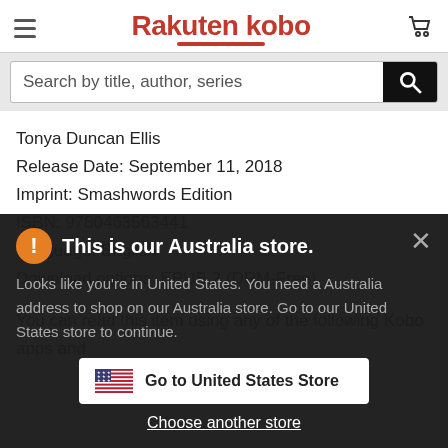Rakuten kobo
Search by title, author, series
Tonya Duncan Ellis
Release Date: September 11, 2018
Imprint: Smashwords Edition
ISBN: 9780463563441
Language: English
Download options: EPUB 2 (DRM-Free)
You can read this item using any of the following Kobo apps and
This is our Australia store.
Looks like you're in United States. You need a Australia address to shop on our Australia store. Go to our United States store to continue.
Go to United States Store
Choose another store